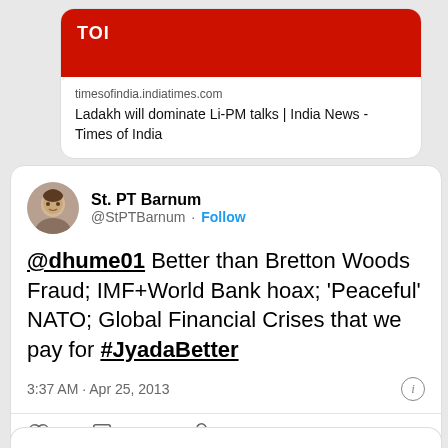[Figure (screenshot): Times of India (TOI) link card with red banner showing 'TOI' logo and article link: 'Ladakh will dominate Li-PM talks | India News - Times of India' from timesofindia.indiatimes.com]
St. PT Barnum
@StPTBarnum · Follow
@dhume01 Better than Bretton Woods Fraud; IMF+World Bank hoax; 'Peaceful' NATO; Global Financial Crises that we pay for #JyadaBetter
3:37 AM · Apr 25, 2013
1  Reply  Copy link
Explore what's happening on Twitter